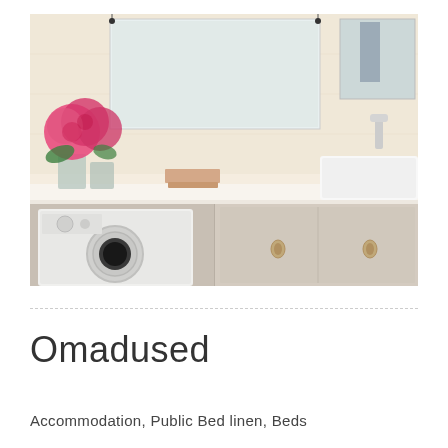[Figure (photo): Bathroom/laundry room interior with white countertop, white vessel sink, gold faucet, pink hydrangea flowers in glass vases, folded towels, a washing machine underneath the counter, and bathroom cabinets with round handles. Large mirror on wall above counter. Light beige/white tiled walls.]
Omadused
Accommodation, Public Bed linen, Beds